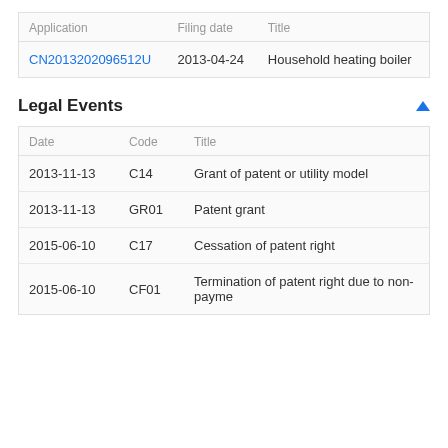| Application | Filing date | Title |
| --- | --- | --- |
| CN2013202096512U | 2013-04-24 | Household heating boiler |
Legal Events
| Date | Code | Title |
| --- | --- | --- |
| 2013-11-13 | C14 | Grant of patent or utility model |
| 2013-11-13 | GR01 | Patent grant |
| 2015-06-10 | C17 | Cessation of patent right |
| 2015-06-10 | CF01 | Termination of patent right due to non-payme |